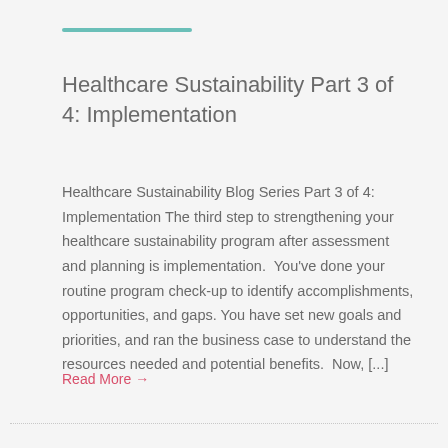Healthcare Sustainability Part 3 of 4: Implementation
Healthcare Sustainability Blog Series Part 3 of 4: Implementation The third step to strengthening your healthcare sustainability program after assessment and planning is implementation.  You've done your routine program check-up to identify accomplishments, opportunities, and gaps. You have set new goals and priorities, and ran the business case to understand the resources needed and potential benefits.  Now, [...]
Read More →